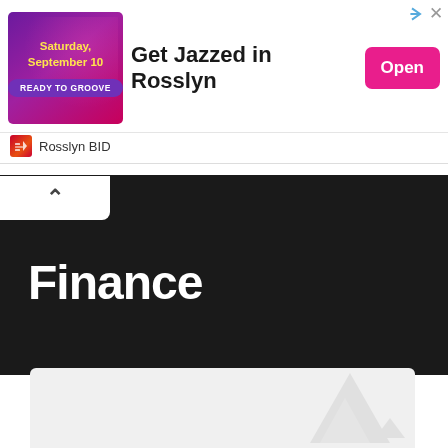[Figure (other): Advertisement banner for 'Get Jazzed in Rosslyn' event, Saturday September 10, READY TO GROOVE, with Open button and Rosslyn BID branding]
Finance
[Figure (other): Light gray card section with faint watermark graphic at bottom]